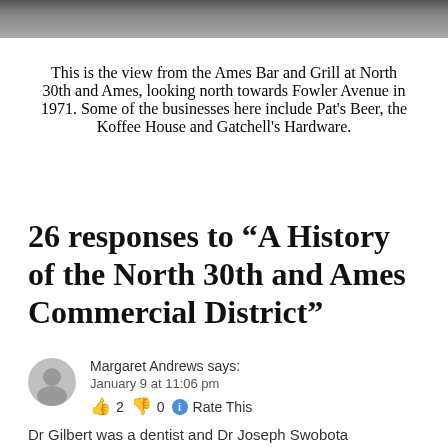[Figure (photo): Partial view of photo strip at top of page showing a street scene]
This is the view from the Ames Bar and Grill at North 30th and Ames, looking north towards Fowler Avenue in 1971. Some of the businesses here include Pat's Beer, the Koffee House and Gatchell's Hardware.
26 responses to “A History of the North 30th and Ames Commercial District”
Margaret Andrews says:
January 9 at 11:06 pm
👍 2 👎 0 ℹ Rate This
Dr Gilbert was a dentist and Dr Joseph Swobota